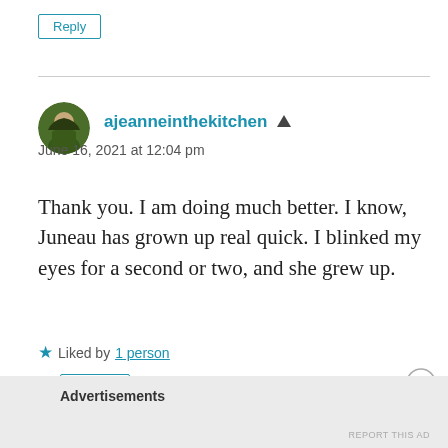Reply
[Figure (photo): Circular avatar photo of user ajeanneinthekitchen showing a person outdoors with greenery]
ajeanneinthekitchen
June 16, 2021 at 12:04 pm
Thank you. I am doing much better. I know, Juneau has grown up real quick. I blinked my eyes for a second or two, and she grew up.
Liked by 1 person
Reply
Advertisements